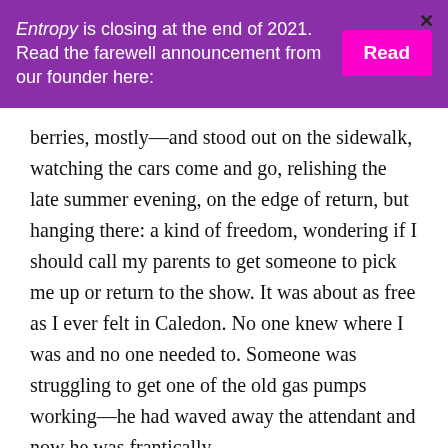Entropy is closing at the end of 2021. Read the farewell announcement from our founder here: [Read button] [X]
berries, mostly—and stood out on the sidewalk, watching the cars come and go, relishing the late summer evening, on the edge of return, but hanging there: a kind of freedom, wondering if I should call my parents to get someone to pick me up or return to the show. It was about as free as I ever felt in Caledon. No one knew where I was and no one needed to. Someone was struggling to get one of the old gas pumps working—he had waved away the attendant and now he was frantically